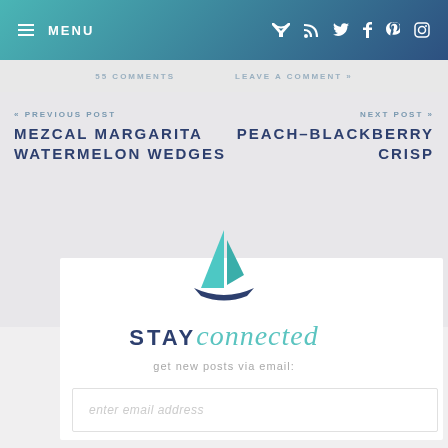MENU | RSS Twitter Facebook Pinterest Instagram
55 COMMENTS   LEAVE A COMMENT »
« PREVIOUS POST
MEZCAL MARGARITA WATERMELON WEDGES
NEXT POST »
PEACH-BLACKBERRY CRISP
[Figure (logo): Sailboat logo icon with teal sail and dark blue hull]
STAY connected
get new posts via email:
enter email address